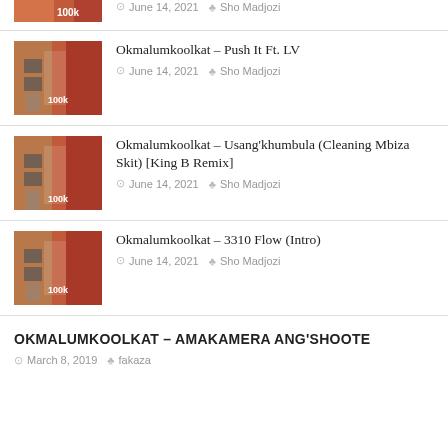Okmalumkoolkat – Push It Ft. LV
June 14, 2021  Sho Madjozi
Okmalumkoolkat – Usang'khumbula (Cleaning Mbiza Skit) [King B Remix]
June 14, 2021  Sho Madjozi
Okmalumkoolkat – 3310 Flow (Intro)
June 14, 2021  Sho Madjozi
OKMALUMKOOLKAT – AMAKAMERA ANG'SHOOTE
March 8, 2019  fakaza